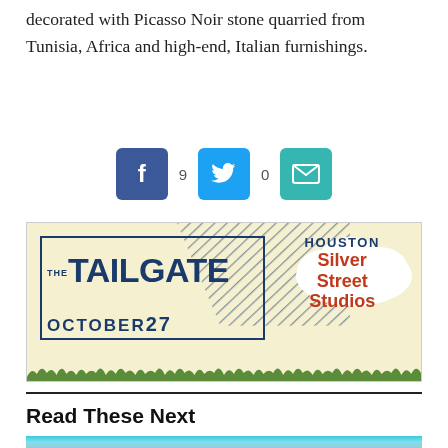decorated with Picasso Noir stone quarried from Tunisia, Africa and high-end, Italian furnishings.
[Figure (other): Social share buttons row: Facebook button with count 9, Twitter button with count 0, Email button]
[Figure (other): Advertisement banner for 'The Tailgate' event at Houston Silver Street Studios on October 27]
Read These Next
[Figure (photo): Photo of women at what appears to be a fitness or dance class with blue ambient lighting]